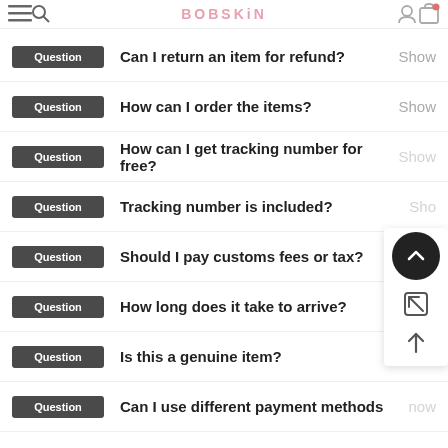BOBSKIN
Question | Can I return an item for refund? | Show
Question | How can I order the items? | Show
Question | How can I get tracking number for free? | Show
Question | Tracking number is included? | Show
Question | Should I pay customs fees or tax? | Show
Question | How long does it take to arrive? | Show
Question | Is this a genuine item? | Show
Question | Can I use different payment methods | now